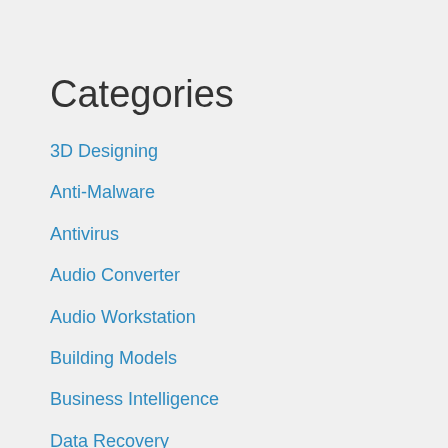Categories
3D Designing
Anti-Malware
Antivirus
Audio Converter
Audio Workstation
Building Models
Business Intelligence
Data Recovery
Driver
Graphical Databases
Graphics